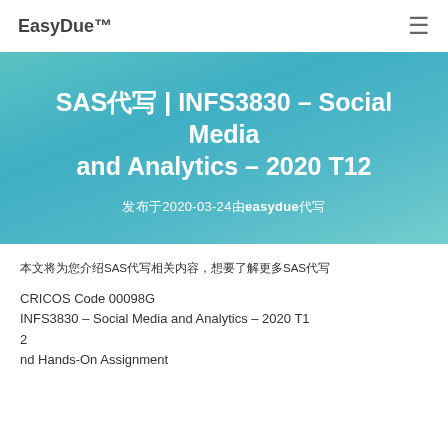EasyDue™
SAS代写 | INFS3830 – Social Media and Analytics – 2020 T12
发表于2020-03-24由easydue代写
本文将为您介绍SAS代写相关内容，想要了解更多SAS代写
CRICOS Code 00098G
INFS3830 – Social Media and Analytics – 2020 T12
nd Hands-On Assignment